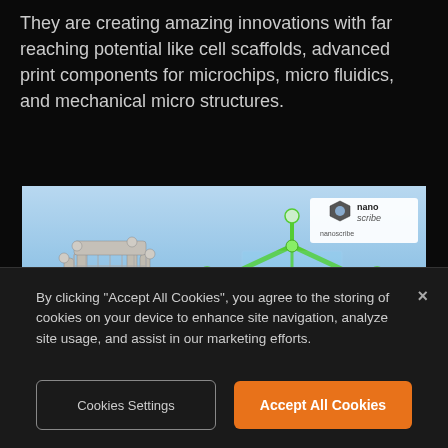They are creating amazing innovations with far reaching potential like cell scaffolds, advanced print components for microchips, micro fluidics, and mechanical micro structures.
[Figure (photo): Photo of two 3D-printed micro-scale lattice structures — one grey and one green — on a blue background, with the Nanoscribe logo and a 5 µm scale bar in the image.]
By clicking "Accept All Cookies", you agree to the storing of cookies on your device to enhance site navigation, analyze site usage, and assist in our marketing efforts.